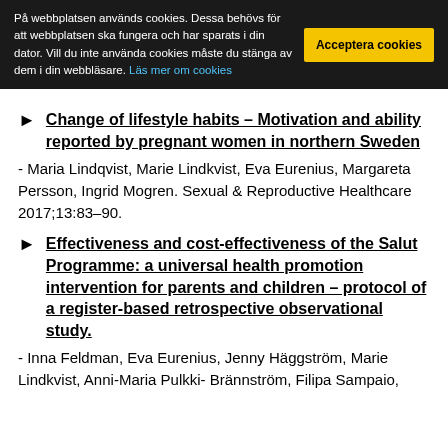På webbplatsen används cookies. Dessa behövs för att webbplatsen ska fungera och har sparats i din dator. Vill du inte använda cookies måste du stänga av dem i din webbläsare. Läs mer om cookies
Change of lifestyle habits – Motivation and ability reported by pregnant women in northern Sweden
- Maria Lindqvist, Marie Lindkvist, Eva Eurenius, Margareta Persson, Ingrid Mogren. Sexual & Reproductive Healthcare 2017;13:83–90.
Effectiveness and cost-effectiveness of the Salut Programme: a universal health promotion intervention for parents and children – protocol of a register-based retrospective observational study.
- Inna Feldman, Eva Eurenius, Jenny Häggström, Marie Lindkvist, Anni-Maria Pulkki- Brännström, Filipa Sampaio,